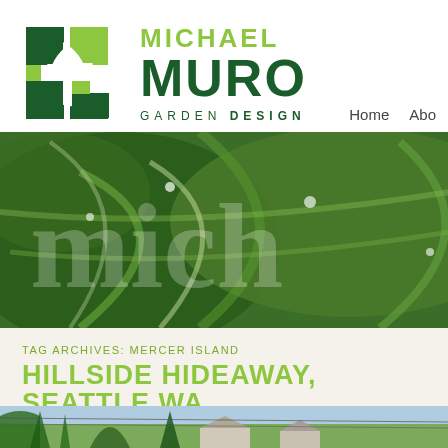[Figure (logo): Michael Muro Garden Design logo with geometric leaf/drop shape in dark green and lime green]
MICHAEL MURO GARDEN DESIGN
Home  Abo
[Figure (photo): Banner with two photos: close-up of large green hosta leaves with water droplets on left, and a dry garden with rocks and succulents on right. Watermark text 'mich' overlaid.]
TAG ARCHIVES: MERCER ISLAND
HILLSIDE HIDEAWAY, SEATTLE WA
[Figure (photo): Partial view of a residential garden with trees and houses in the background]